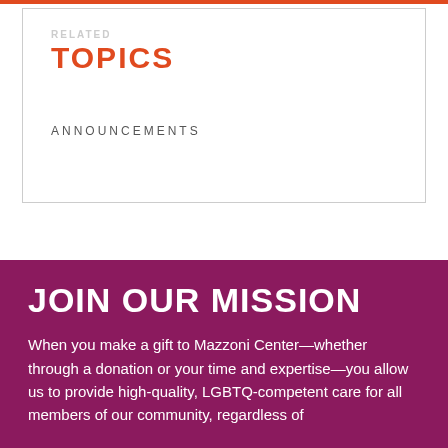TOPICS
ANNOUNCEMENTS
JOIN OUR MISSION
When you make a gift to Mazzoni Center—whether through a donation or your time and expertise—you allow us to provide high-quality, LGBTQ-competent care for all members of our community, regardless of